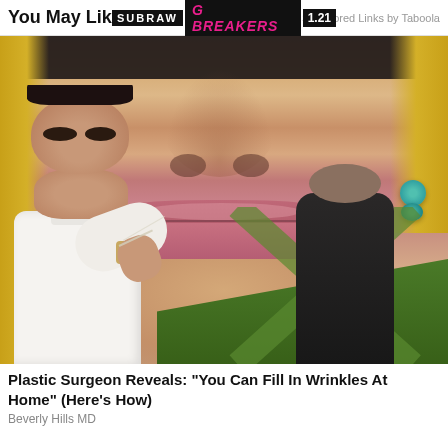You May Like | Sponsored Links by Taboola
[Figure (photo): Close-up photo of a woman's face (nose and lips visible) with a doctor or plastic surgeon figure in the foreground appearing to inject or treat the area near the lips. The woman has blonde hair and turquoise earrings. A dark band obscures the top of the face. Background shows green grass and a dark-clothed figure at bottom right.]
Plastic Surgeon Reveals: "You Can Fill In Wrinkles At Home" (Here's How)
Beverly Hills MD